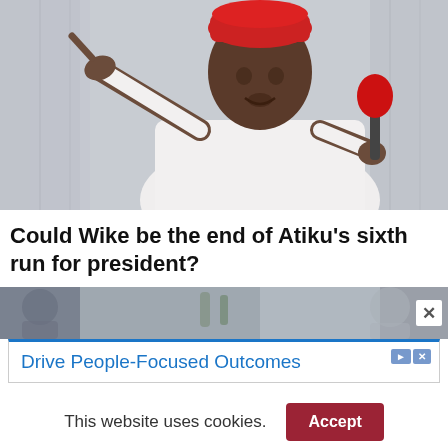[Figure (photo): Man wearing a red cap and white garment, pointing with his right hand and holding a red microphone, speaking at an event. Background is blurred curtains.]
Could Wike be the end of Atiku's sixth run for president?
[Figure (photo): Partially visible second photo below the headline, obscured by advertisement overlay.]
[Figure (screenshot): Advertisement banner reading 'Drive People-Focused Outcomes' with ad icons.]
This website uses cookies.
Accept